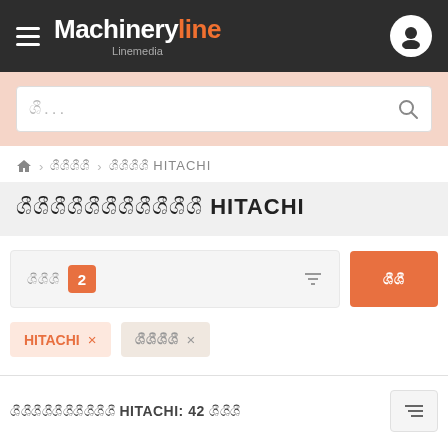Machineryline Linemedia
ශී...
🏠 > ශීශීශීශී > ශීශීශීශී HITACHI
ශීශීශීශීශීශීශීශීශීශීශී HITACHI
ශීශීශී 2
HITACHI ×   ශීශීශීශී ×
ශීශීශීශීශීශීශීශීශීශී HITACHI: 42 ශීශීශී